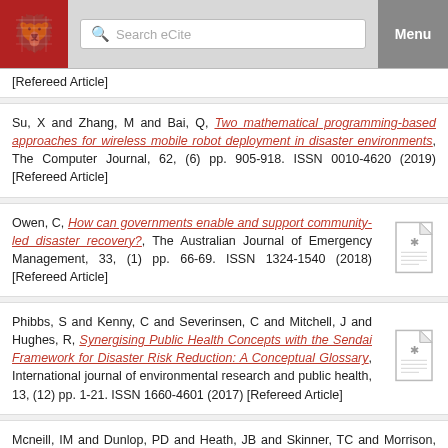Search eCite | Menu
[Refereed Article]
Su, X and Zhang, M and Bai, Q, Two mathematical programming-based approaches for wireless mobile robot deployment in disaster environments, The Computer Journal, 62, (6) pp. 905-918. ISSN 0010-4620 (2019) [Refereed Article]
Owen, C, How can governments enable and support community-led disaster recovery?, The Australian Journal of Emergency Management, 33, (1) pp. 66-69. ISSN 1324-1540 (2018) [Refereed Article]
Phibbs, S and Kenny, C and Severinsen, C and Mitchell, J and Hughes, R, Synergising Public Health Concepts with the Sendai Framework for Disaster Risk Reduction: A Conceptual Glossary, International journal of environmental research and public health, 13, (12) pp. 1-21. ISSN 1660-4601 (2017) [Refereed Article]
Mcneill, IM and Dunlop, PD and Heath, JB and Skinner, TC and Morrison, DL, Expecting the unexpected: Predicting physiological and psychological wildfire preparedness from